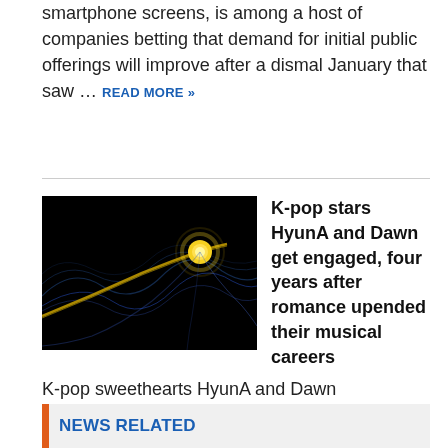smartphone screens, is among a host of companies betting that demand for initial public offerings will improve after a dismal January that saw … READ MORE »
[Figure (photo): Dark image showing glowing yellow orb with blue curved light streaks on black background]
K-pop stars HyunA and Dawn get engaged, four years after romance upended their musical careers
K-pop sweethearts HyunA and Dawn announced their plans to marry on February 3. The couple shared their plans through a series of Instagram posts featuring a pair of matching opal … READ MORE »
NEWS RELATED